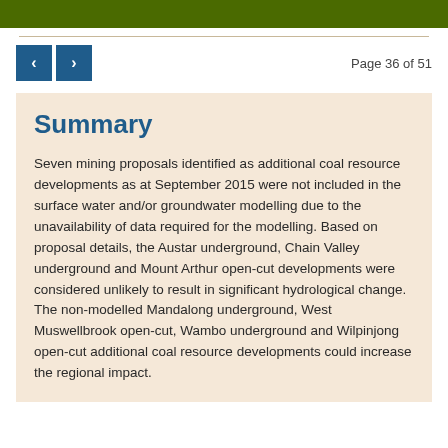Page 36 of 51
Summary
Seven mining proposals identified as additional coal resource developments as at September 2015 were not included in the surface water and/or groundwater modelling due to the unavailability of data required for the modelling. Based on proposal details, the Austar underground, Chain Valley underground and Mount Arthur open-cut developments were considered unlikely to result in significant hydrological change. The non-modelled Mandalong underground, West Muswellbrook open-cut, Wambo underground and Wilpinjong open-cut additional coal resource developments could increase the regional impact.